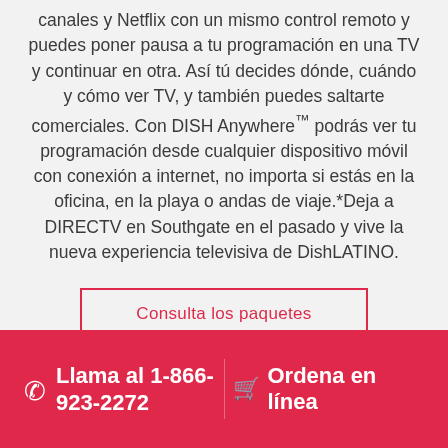canales y Netflix con un mismo control remoto y puedes poner pausa a tu programación en una TV y continuar en otra. Así tú decides dónde, cuándo y cómo ver TV, y también puedes saltarte comerciales. Con DISH Anywhere™ podrás ver tu programación desde cualquier dispositivo móvil con conexión a internet, no importa si estás en la oficina, en la playa o andas de viaje.*Deja a DIRECTV en Southgate en el pasado y vive la nueva experiencia televisiva de DishLATINO.
Consulta los paquetes
Llama al 1-866-923-2272
Ordena en línea